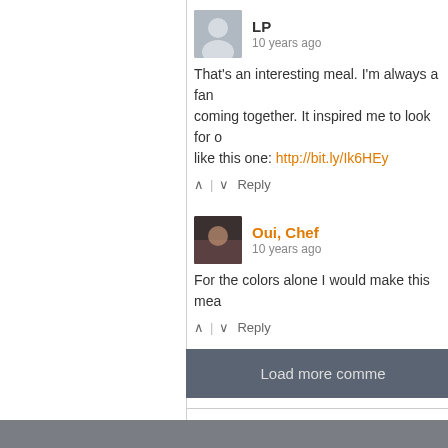LP — 10 years ago
That's an interesting meal. I'm always a fan coming together. It inspired me to look for o like this one: http://bit.ly/Ik6HEy
↑ | ↓  Reply
Oui, Chef — 10 years ago
For the colors alone I would make this mea
↑ | ↓  Reply
Load more comme
Subscribe  Add Disqus  Do Not Sell My Da